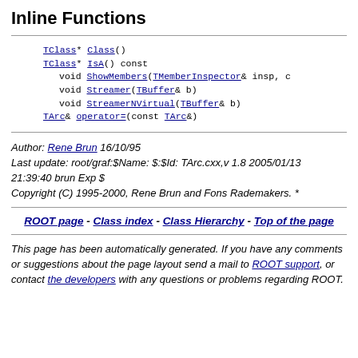Inline Functions
TClass* Class()
TClass* IsA() const
void ShowMembers(TMemberInspector& insp, c
void Streamer(TBuffer& b)
void StreamerNVirtual(TBuffer& b)
TArc& operator=(const TArc&)
Author: Rene Brun 16/10/95
Last update: root/graf:$Name: $:$Id: TArc.cxx,v 1.8 2005/01/13 21:39:40 brun Exp $
Copyright (C) 1995-2000, Rene Brun and Fons Rademakers. *
ROOT page - Class index - Class Hierarchy - Top of the page
This page has been automatically generated. If you have any comments or suggestions about the page layout send a mail to ROOT support, or contact the developers with any questions or problems regarding ROOT.